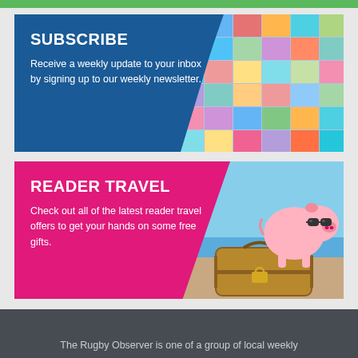[Figure (infographic): Subscribe banner with blue background, bold white SUBSCRIBE heading, descriptive text about weekly newsletter, and collage of photos on the right side.]
[Figure (infographic): Reader Travel banner with pink/magenta background, bold white READER TRAVEL heading, descriptive text about travel offers, and photo of piggy bank with sunglasses on a suitcase on a beach on the right side.]
The Rugby Observer is one of a group of local weekly